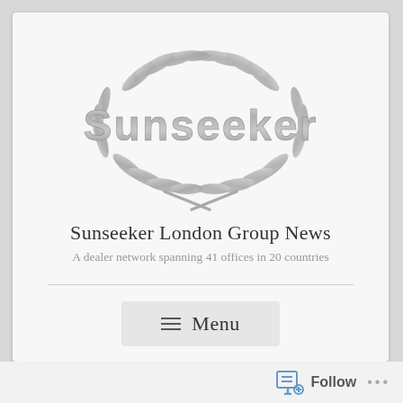[Figure (logo): Sunseeker brand logo: chrome metallic 'Sunseeker' text enclosed in a laurel wreath oval emblem, rendered in silver/grey tones]
Sunseeker London Group News
A dealer network spanning 41 offices in 20 countries
≡ Menu
Follow ...